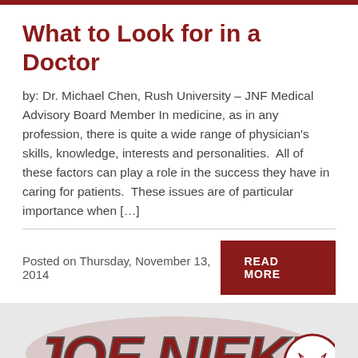What to Look for in a Doctor
by: Dr. Michael Chen, Rush University – JNF Medical Advisory Board Member In medicine, as in any profession, there is quite a wide range of physician's skills, knowledge, interests and personalities.  All of these factors can play a role in the success they have in caring for patients.  These issues are of particular importance when […]
Posted on Thursday, November 13, 2014
[Figure (logo): Joe Niekro Foundation logo with stylized text 'JOE NIEKRO' in dark red and grey with a baseball graphic]